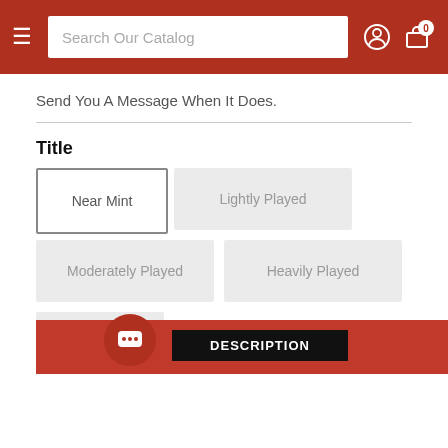Search Our Catalog — navigation bar with hamburger menu, search box, user icon, cart icon (0 items)
Send You A Message When It Does.
Title
Near Mint
Lightly Played
Moderately Played
Heavily Played
Damaged
Units
- 1 +
DESCRIPTION